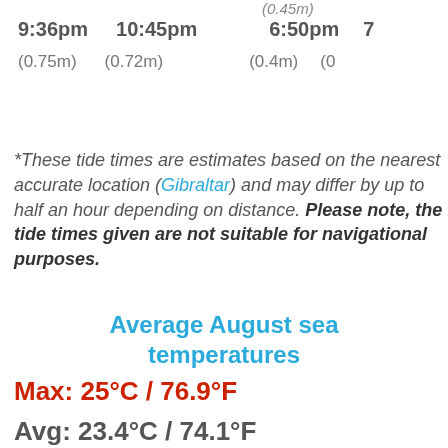9:36pm   10:45pm   (0.45m)   6:50pm   7
(0.75m)  (0.72m)             (0.4m)   (0
*These tide times are estimates based on the nearest accurate location (Gibraltar) and may differ by up to half an hour depending on distance. Please note, the tide times given are not suitable for navigational purposes.
Average August sea temperatures
Max: 25°C / 76.9°F
Avg: 23.4°C / 74.1°F